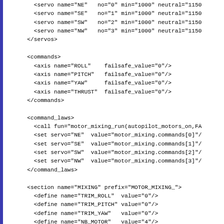XML configuration code snippet showing servo, commands, command_laws, and section definitions for a motor mixing autopilot system